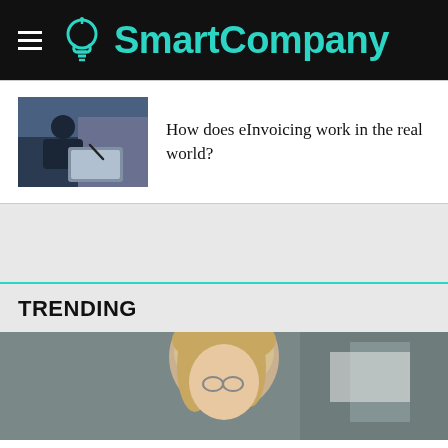SmartCompany
[Figure (photo): Person signing a document on a tablet, business setting]
How does eInvoicing work in the real world?
TRENDING
[Figure (photo): Blonde woman looking up outdoors, partial view]